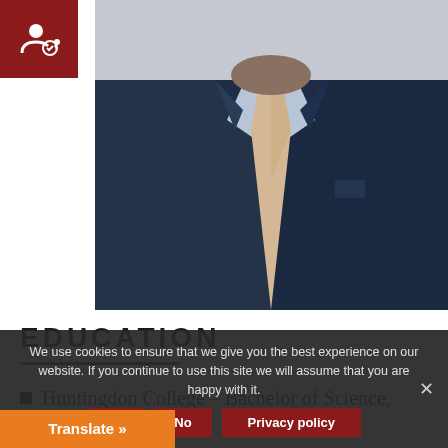[Figure (photo): Profile photo of a man in a dark navy suit with a tan/beige tie and light blue shirt, cropped to show torso and lower face area]
EDUCATION
Huntingdon College – Bachelor of Science,
We use cookies to ensure that we give you the best experience on our website. If you continue to use this site we will assume that you are happy with it.
Ok   No   Privacy policy
Translate »